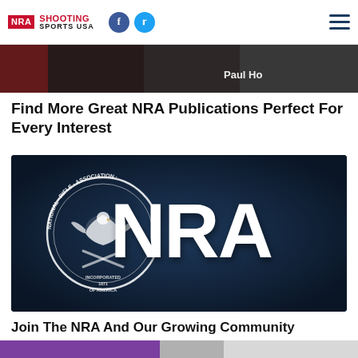NRA Shooting Sports USA
[Figure (photo): Partial view of magazine or book covers, dark background with text 'Paul Ho']
Find More Great NRA Publications Perfect For Every Interest
[Figure (logo): NRA logo on dark blue background — National Rifle Association seal on left, large white NRA letters on right]
Join The NRA And Our Growing Community
[Figure (photo): Partial bottom strip showing people, purple and grey tones]